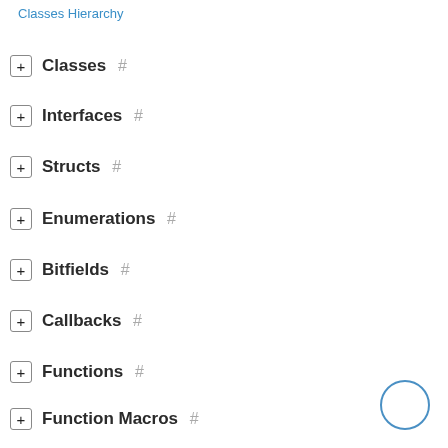Classes Hierarchy
Classes #
Interfaces #
Structs #
Enumerations #
Bitfields #
Callbacks #
Functions #
Function Macros #